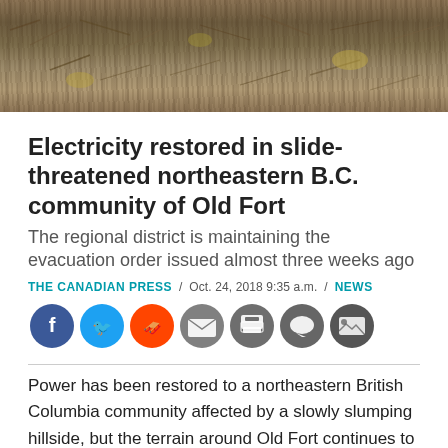[Figure (photo): Close-up photo of dry grass, twigs and earth on a hillside]
Electricity restored in slide-threatened northeastern B.C. community of Old Fort
The regional district is maintaining the evacuation order issued almost three weeks ago
THE CANADIAN PRESS / Oct. 24, 2018 9:35 a.m. / NEWS
[Figure (infographic): Social media sharing buttons: Facebook, Twitter, Reddit, Email, Print, Comments, Image]
Power has been restored to a northeastern British Columbia community affected by a slowly slumping hillside, but the terrain around Old Fort continues to slip and an evacuation order remains.